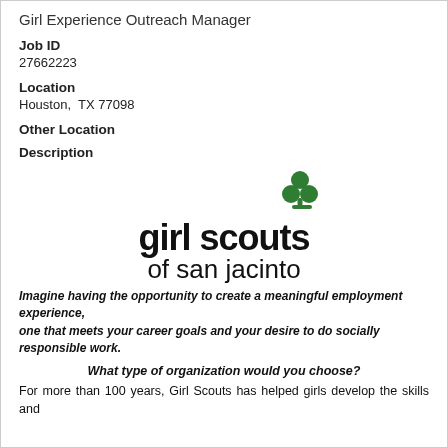Girl Experience Outreach Manager
Job ID
27662223
Location
Houston,  TX 77098
Other Location
Description
[Figure (logo): Girl Scouts of San Jacinto logo with green trefoil icon above the text 'girl scouts of san jacinto']
Imagine having the opportunity to create a meaningful employment experience, one that meets your career goals and your desire to do socially responsible work.
What type of organization would you choose?
For more than 100 years, Girl Scouts has helped girls develop the skills and